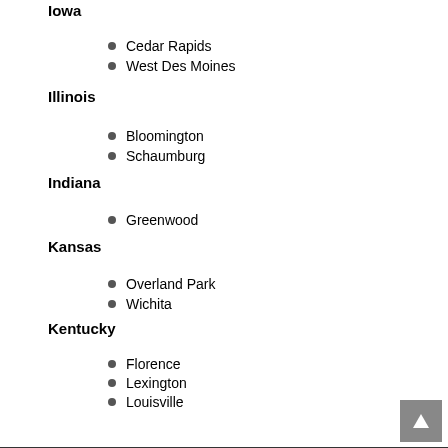Iowa
Cedar Rapids
West Des Moines
Illinois
Bloomington
Schaumburg
Indiana
Greenwood
Kansas
Overland Park
Wichita
Kentucky
Florence
Lexington
Louisville
Louisiana
Harvey
Massachusetts
Cambridge